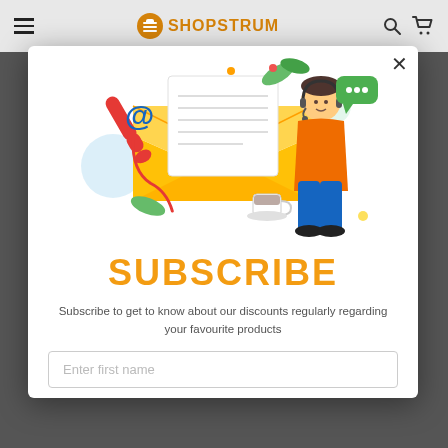SHOPSTRUM
[Figure (illustration): Subscription illustration with an open envelope containing a letter, a red telephone handset, an @ symbol, decorative holiday leaves and berries, a person with a headset, a coffee cup, and decorative circles.]
SUBSCRIBE
Subscribe to get to know about our discounts regularly regarding your favourite products